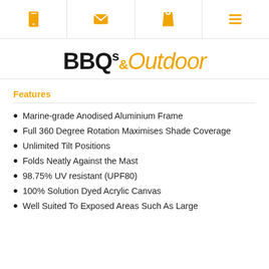[Figure (other): Navigation bar with four icons: mobile phone, envelope/email, shopping bag, and hamburger menu, all in orange color]
BBQs&Outdoor
Features
Marine-grade Anodised Aluminium Frame
Full 360 Degree Rotation Maximises Shade Coverage
Unlimited Tilt Positions
Folds Neatly Against the Mast
98.75% UV resistant (UPF80)
100% Solution Dyed Acrylic Canvas
Well Suited To Exposed Areas Such As Large